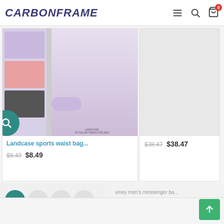CarbonFrame
[Figure (photo): Product photo of Landcase sports waist bag in multiple colors (purple, pink, black) with model wearing purple fanny pack]
Landcase sports waist bag...
$8.49  $8.49
$38.47  $38.47
viney men's messenger ba...
$40.09  $40.89
1  2  3  4  5  6  7  8  9  >  |}